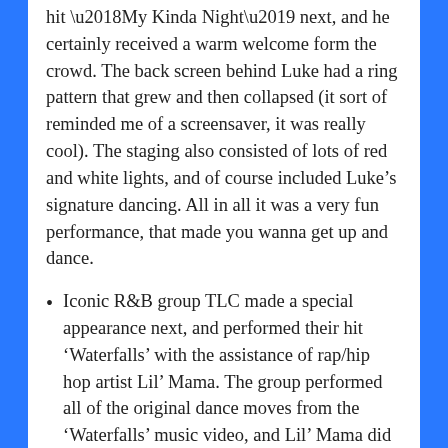hit ‘My Kinda Night’ next, and he certainly received a warm welcome form the crowd. The back screen behind Luke had a ring pattern that grew and then collapsed (it sort of reminded me of a screensaver, it was really cool). The staging also consisted of lots of red and white lights, and of course included Luke’s signature dancing. All in all it was a very fun performance, that made you wanna get up and dance.
Iconic R&B group TLC made a special appearance next, and performed their hit ‘Waterfalls’ with the assistance of rap/hip hop artist Lil’ Mama. The group performed all of the original dance moves from the ‘Waterfalls’ music video, and Lil’ Mama did an excellent job performing the rapping segment of the song. At the end of the performance, the back